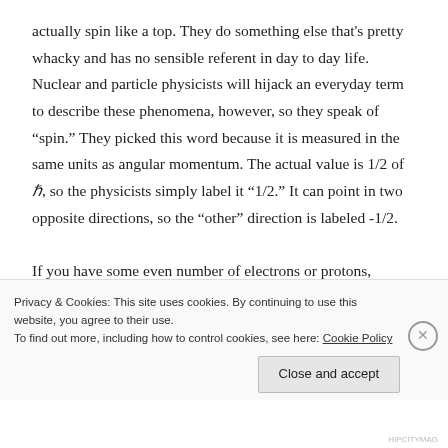actually spin like a top. They do something else that's pretty whacky and has no sensible referent in day to day life. Nuclear and particle physicists will hijack an everyday term to describe these phenomena, however, so they speak of "spin." They picked this word because it is measured in the same units as angular momentum. The actual value is 1/2 of ℏ, so the physicists simply label it "1/2." It can point in two opposite directions, so the "other" direction is labeled -1/2.
If you have some even number of electrons or protons,
Privacy & Cookies: This site uses cookies. By continuing to use this website, you agree to their use.
To find out more, including how to control cookies, see here: Cookie Policy